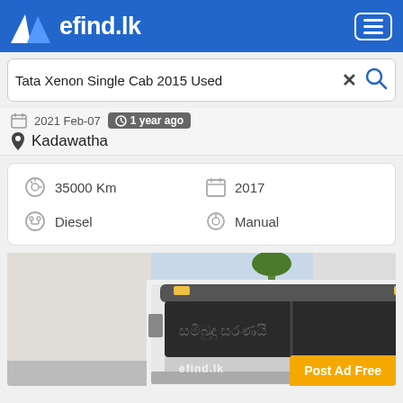efind.lk
Tata Xenon Single Cab 2015 Used
2021 Feb-07  1 year ago  Kadawatha
35000 Km  2017  Diesel  Manual
[Figure (photo): Front view of a Tata Xenon truck cab with Sinhala text on windshield, white color, photographed from outside]
Post Ad Free